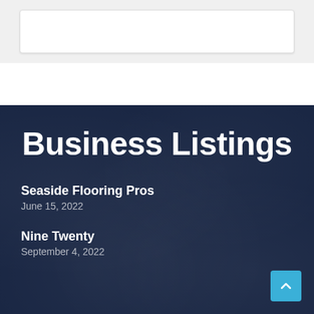[Figure (screenshot): Top white card/box element on light gray background]
Business Listings
Seaside Flooring Pros
June 15, 2022
Nine Twenty
September 4, 2022